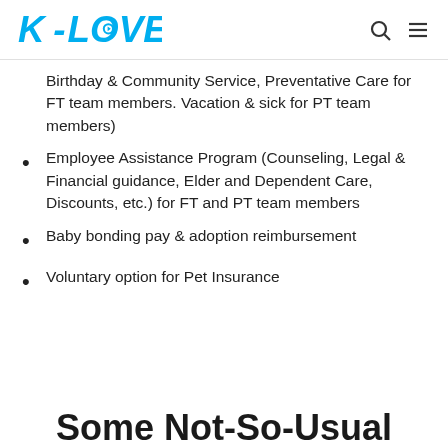K-LOVE
Birthday & Community Service, Preventative Care for FT team members. Vacation & sick for PT team members)
Employee Assistance Program (Counseling, Legal & Financial guidance, Elder and Dependent Care, Discounts, etc.) for FT and PT team members
Baby bonding pay & adoption reimbursement
Voluntary option for Pet Insurance
Some Not-So-Usual